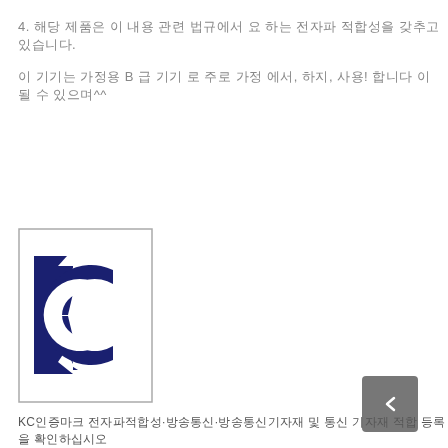4. 해당 제품은 이 내용 관련 법규에서 요 하는 전자파 적합성을 갖추고 있습니다.
이 기기는 가정용 B 급 기기 로 주로 가정 에서, 하지, 사용! 합니다 이 될 수 있으며^^
[Figure (logo): KC mark certification logo - dark blue K and C letters inside a rectangular border]
KC인증마크 전자파적합성·방송통신·방송통신기자재 및 통신 기자재 적합 등록을 확인하십시오